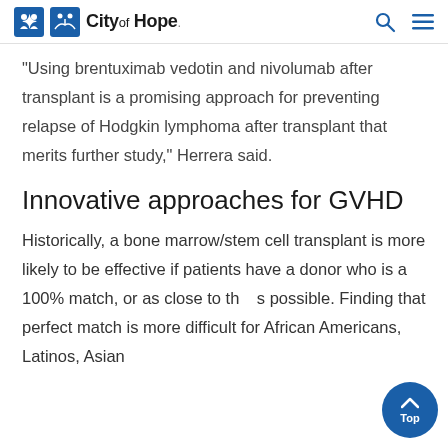City of Hope
“Using brentuximab vedotin and nivolumab after transplant is a promising approach for preventing relapse of Hodgkin lymphoma after transplant that merits further study,” Herrera said.
Innovative approaches for GVHD
Historically, a bone marrow/stem cell transplant is more likely to be effective if patients have a donor who is a 100% match, or as close to that as possible. Finding that perfect match is more difficult for African Americans, Latinos, Asian